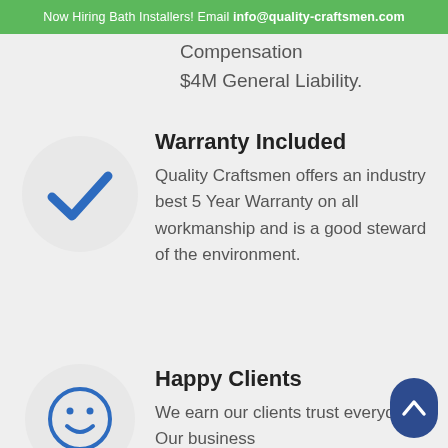Now Hiring Bath Installers! Email info@quality-craftsmen.com
Compensation
$4M General Liability.
[Figure (illustration): White circle with a blue checkmark icon inside]
Warranty Included
Quality Craftsmen offers an industry best 5 Year Warranty on all workmanship and is a good steward of the environment.
[Figure (illustration): White circle with a blue smiley face icon inside]
Happy Clients
We earn our clients trust everyday. Our business
[Figure (illustration): Dark blue rounded rectangle back-to-top button with upward arrow]